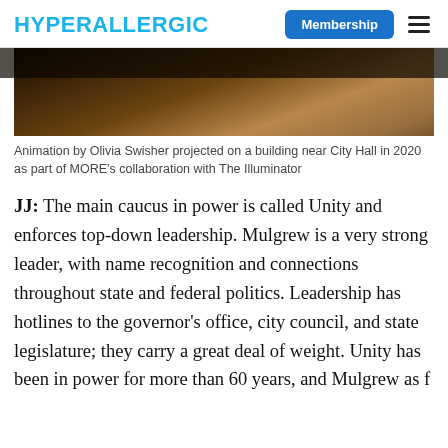HYPERALLERGIC | Membership
[Figure (photo): Dark photograph of a building near City Hall with an animation projected on it, nighttime urban scene.]
Animation by Olivia Swisher projected on a building near City Hall in 2020 as part of MORE's collaboration with The Illuminator
JJ: The main caucus in power is called Unity and enforces top-down leadership. Mulgrew is a very strong leader, with name recognition and connections throughout state and federal politics. Leadership has hotlines to the governor's office, city council, and state legislature; they carry a great deal of weight. Unity has been in power for more than 60 years, and Mulgrew as f...